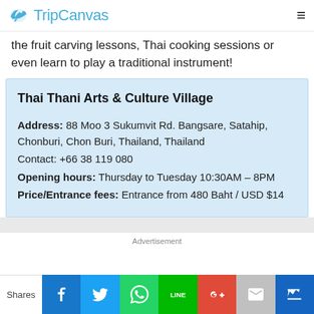TripCanvas
the fruit carving lessons, Thai cooking sessions or even learn to play a traditional instrument!
Thai Thani Arts & Culture Village

Address: 88 Moo 3 Sukumvit Rd. Bangsare, Satahip, Chonburi, Chon Buri, Thailand, Thailand
Contact: +66 38 119 080
Opening hours: Thursday to Tuesday 10:30AM – 8PM
Price/Entrance fees: Entrance from 480 Baht / USD $14
Advertisement